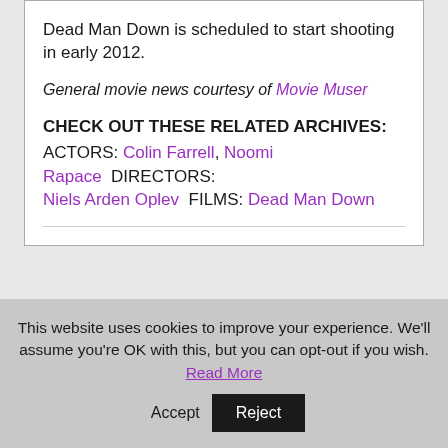Dead Man Down is scheduled to start shooting in early 2012.
General movie news courtesy of Movie Muser
CHECK OUT THESE RELATED ARCHIVES:
ACTORS: Colin Farrell, Noomi Rapace  DIRECTORS: Niels Arden Oplev  FILMS: Dead Man Down
This website uses cookies to improve your experience. We'll assume you're OK with this, but you can opt-out if you wish. Read More Accept Reject